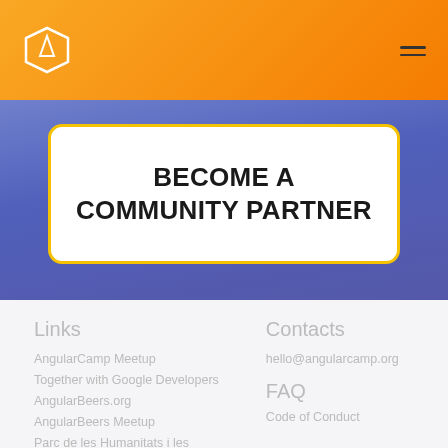[Figure (logo): AngularCamp hexagon logo in white outline on orange gradient header]
BECOME A COMMUNITY PARTNER
Links
AngularCamp Meetup
Together with Google Developers
AngularBeers.org
AngularBeers Meetup
Parc de les Humanitats i les
Contacts
hello@angularcamp.org
FAQ
Code of Conduct